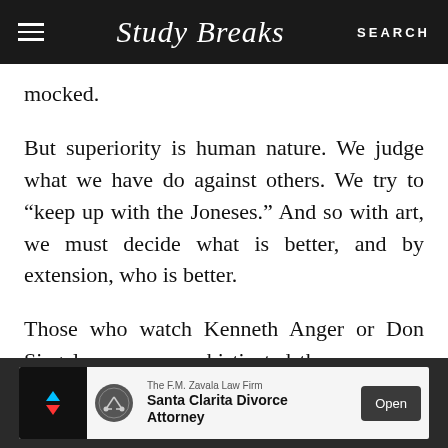Study Breaks | SEARCH
mocked.
But superiority is human nature. We judge what we have do against others. We try to “keep up with the Joneses.” And so with art, we must decide what is better, and by extension, who is better.
Those who watch Kenneth Anger or Don Siegel are more sophisticated than someone who’s seen “How To Lose A Guy In 10 Days” 10 times.
[Figure (other): Advertisement banner: The F.M. Zavala Law Firm - Santa Clarita Divorce Attorney. Open button.]